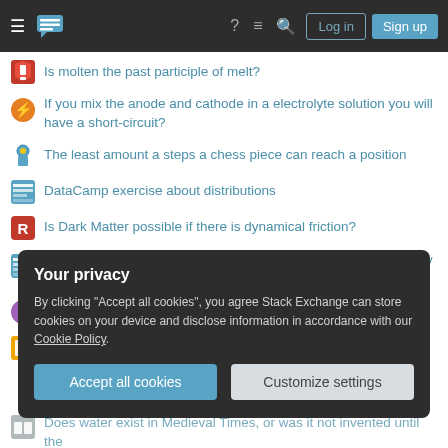Stack Exchange navigation bar with hamburger menu, logo, help, chat, search icons, Log in and Sign up buttons
Is molten the past participle of melt?
If you mix the anode and cathode in a electrolyte solution you will have a short-circuit?
The least amount a steps a chess piece can reach a position
DataCamp exercise about distributions
Is Dark Matter possible if there is dynamical friction?
Why is the denominator in a conditional probability the probability of the conditioning event?
What does "Grant Running" mean?
Why do e# and b# exist in theory?
Your privacy
By clicking "Accept all cookies", you agree Stack Exchange can store cookies on your device and disclose information in accordance with our Cookie Policy.
Accept all cookies   Customize settings
Does water exist in Medieval Times, or was it not invented until the